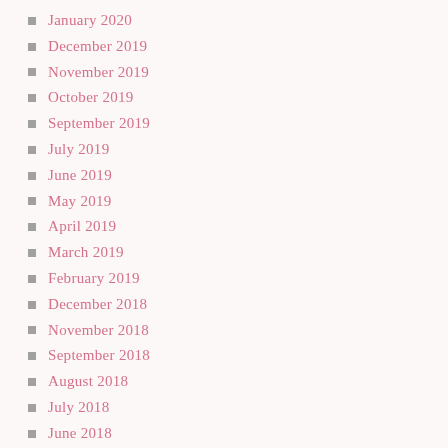January 2020
December 2019
November 2019
October 2019
September 2019
July 2019
June 2019
May 2019
April 2019
March 2019
February 2019
December 2018
November 2018
September 2018
August 2018
July 2018
June 2018
May 2018
April 2018
March 2018
February 2018
January 2018
December 2017